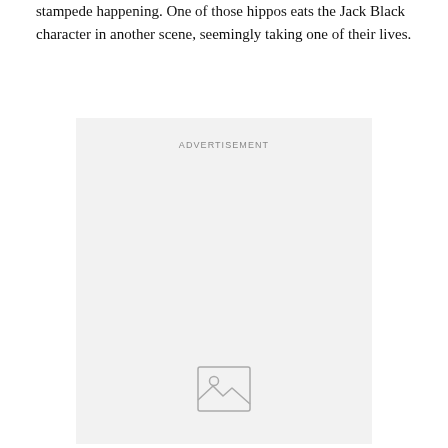stampede happening. One of those hippos eats the Jack Black character in another scene, seemingly taking one of their lives.
[Figure (other): Advertisement placeholder box with light gray background, the word ADVERTISEMENT centered at the top, and an image placeholder icon (mountain/landscape icon) near the bottom center.]